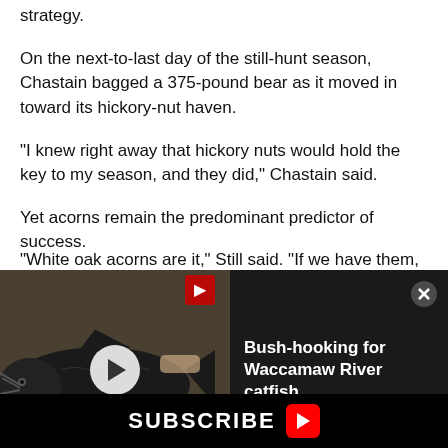strategy.
On the next-to-last day of the still-hunt season, Chastain bagged a 375-pound bear as it moved in toward its hickory-nut haven.
“I knew right away that hickory nuts would hold the key to my season, and they did,” Chastain said.
Yet acorns remain the predominant predictor of success.
“White oak acorns are it,” Still said. “If we have them, the
[Figure (screenshot): Video overlay showing a catfish being handled, with title 'Bush-hooking for Waccamaw River catfish' and a play button. Caption reads 'Bush-hooking for BIG catfish on the Waccamaw River'.]
Carolina, Georgia and North Carolina because of the
SUBSCRIBE